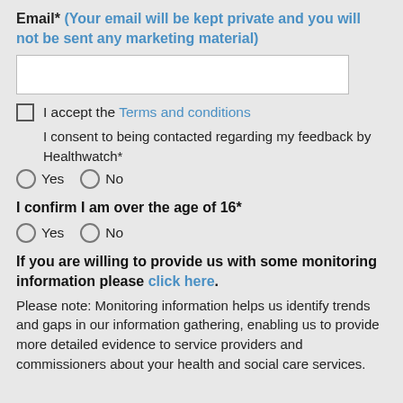Email* (Your email will be kept private and you will not be sent any marketing material)
I accept the Terms and conditions
I consent to being contacted regarding my feedback by Healthwatch*
Yes   No
I confirm I am over the age of 16*
Yes   No
If you are willing to provide us with some monitoring information please click here.
Please note: Monitoring information helps us identify trends and gaps in our information gathering, enabling us to provide more detailed evidence to service providers and commissioners about your health and social care services.